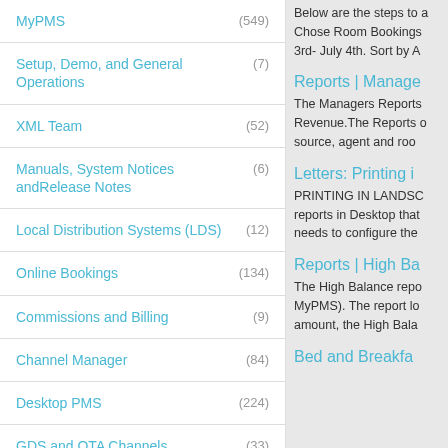MyPMS (549)
Setup, Demo, and General Operations (7)
XML Team (52)
Manuals, System Notices andRelease Notes (6)
Local Distribution Systems (LDS) (12)
Online Bookings (134)
Commissions and Billing (9)
Channel Manager (84)
Desktop PMS (224)
GDS and OTA Channels (33)
Below are the steps to a Chose Room Bookings 3rd- July 4th. Sort by A
Reports | Manage
The Managers Reports Revenue.The Reports o source, agent and roo
Letters: Printing i
PRINTING IN LANDSC reports in Desktop that needs to configure the
Reports | High Ba
The High Balance repo MyPMS). The report lo amount, the High Bala
Bed and Breakfa